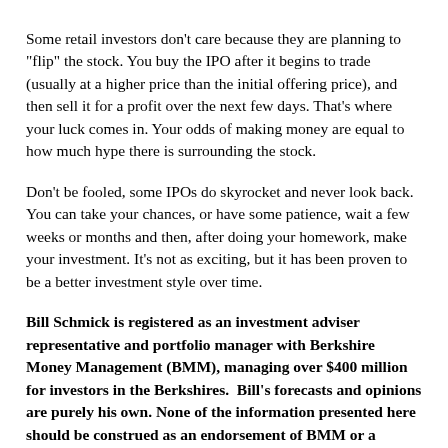Some retail investors don't care because they are planning to "flip" the stock. You buy the IPO after it begins to trade (usually at a higher price than the initial offering price), and then sell it for a profit over the next few days. That's where your luck comes in. Your odds of making money are equal to how much hype there is surrounding the stock.
Don't be fooled, some IPOs do skyrocket and never look back. You can take your chances, or have some patience, wait a few weeks or months and then, after doing your homework, make your investment. It's not as exciting, but it has been proven to be a better investment style over time.
Bill Schmick is registered as an investment adviser representative and portfolio manager with Berkshire Money Management (BMM), managing over $400 million for investors in the Berkshires. Bill's forecasts and opinions are purely his own. None of the information presented here should be construed as an endorsement of BMM or a solicitation to become a client of BMM. Direct